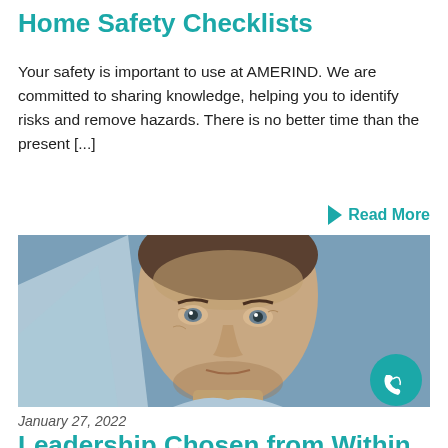Home Safety Checklists
Your safety is important to use at AMERIND. We are committed to sharing knowledge, helping you to identify risks and remove hazards. There is no better time than the present [...]
Read More
[Figure (photo): Close-up portrait of a middle-aged man with short dark hair and light eyes, photographed against a blue-grey background with geometric shapes. A teal circular phone icon button appears in the bottom-right corner of the image.]
January 27, 2022
Leadership Chosen from Within